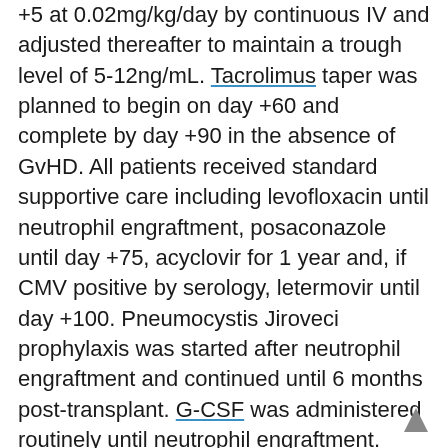+5 at 0.02mg/kg/day by continuous IV and adjusted thereafter to maintain a trough level of 5-12ng/mL. Tacrolimus taper was planned to begin on day +60 and complete by day +90 in the absence of GvHD. All patients received standard supportive care including levofloxacin until neutrophil engraftment, posaconazole until day +75, acyclovir for 1 year and, if CMV positive by serology, letermovir until day +100. Pneumocystis Jiroveci prophylaxis was started after neutrophil engraftment and continued until 6 months post-transplant. G-CSF was administered routinely until neutrophil engraftment. Since September 2020, 19 patients were enrolled. Three patients are too early in their post-transplant course and were excluded from this analysis. Patients' characteristics are summarized in the table.